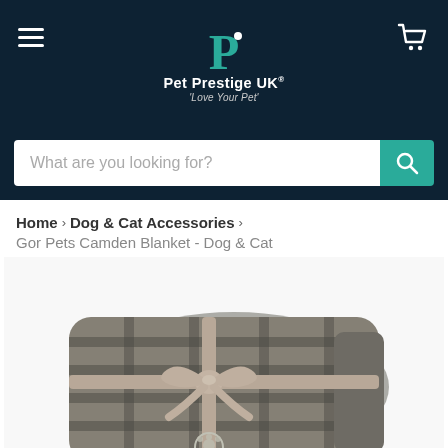[Figure (logo): Pet Prestige UK logo with teal P letter and paw print, white brand name and tagline 'Love Your Pet']
What are you looking for?
Home > Dog & Cat Accessories > Gor Pets Camden Blanket - Dog & Cat
[Figure (photo): Folded grey plaid fleece blanket tied with a taupe ribbon bow, with a small metallic paw print emblem visible at the bottom]